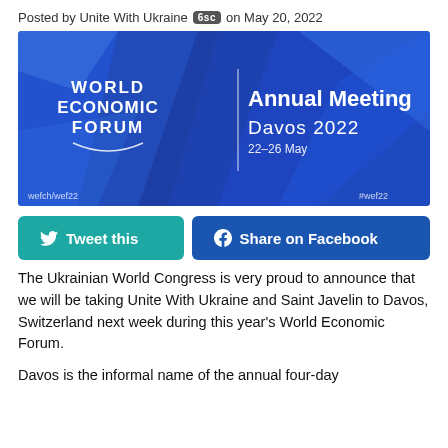Posted by Unite With Ukraine 6sc on May 20, 2022
[Figure (photo): World Economic Forum Annual Meeting Davos 2022 banner image on blue geometric background. Text: WORLD ECONOMIC FORUM | Annual Meeting Davos 2022 22-26 May. Bottom left: wefch/wef22, Bottom right: #wef22]
Tweet this
Share on Facebook
The Ukrainian World Congress is very proud to announce that we will be taking Unite With Ukraine and Saint Javelin to Davos, Switzerland next week during this year's World Economic Forum.
Davos is the informal name of the annual four-day